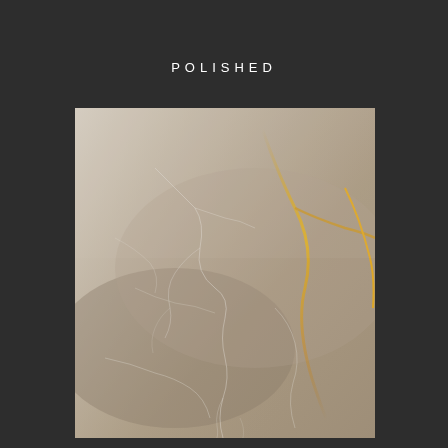POLISHED
[Figure (photo): Close-up photograph of polished marble stone surface showing beige/taupe coloration with golden veining and fine white crack patterns across the surface]